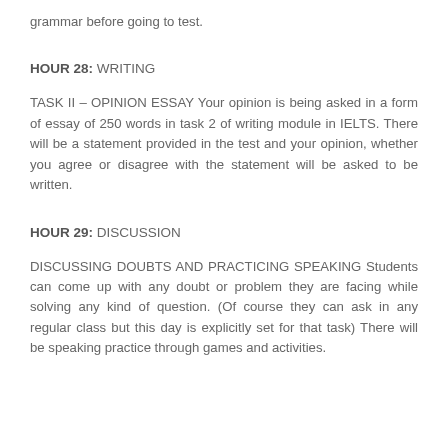grammar before going to test.
HOUR 28: WRITING
TASK II – OPINION ESSAY Your opinion is being asked in a form of essay of 250 words in task 2 of writing module in IELTS. There will be a statement provided in the test and your opinion, whether you agree or disagree with the statement will be asked to be written.
HOUR 29: DISCUSSION
DISCUSSING DOUBTS AND PRACTICING SPEAKING Students can come up with any doubt or problem they are facing while solving any kind of question. (Of course they can ask in any regular class but this day is explicitly set for that task) There will be speaking practice through games and activities.